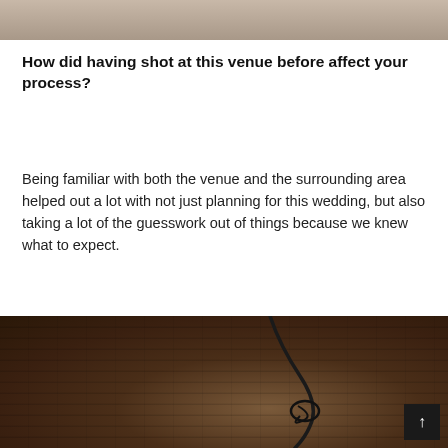[Figure (photo): Partial photo at top of page showing people at a venue, cropped to just feet/legs area]
How did having shot at this venue before affect your process?
Being familiar with both the venue and the surrounding area helped out a lot with not just planning for this wedding, but also taking a lot of the guesswork out of things because we knew what to expect.
[Figure (photo): Photo of a brick wall with a dark electrical cord or wire hanging against it, warm brown tones]